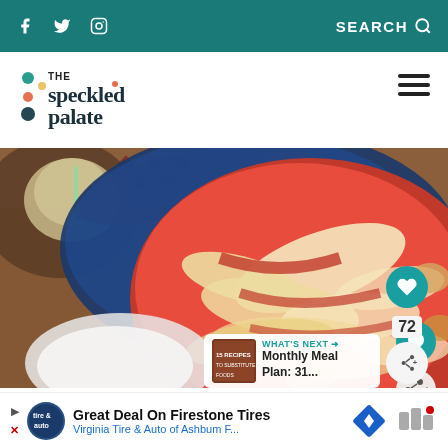Social icons (Facebook, Twitter, Instagram) | SEARCH
[Figure (logo): The Speckled Palate logo with colorful dots]
[Figure (photo): Close-up overhead photo of a deep-dish pizza in a blue baking pan on a wooden cutting board, with cheese and red tomato sauce, alongside a glass with a straw and decorative plates]
72
WHAT'S NEXT → Monthly Meal Plan: 31...
Great Deal On Firestone Tires
Virginia Tire & Auto of Ashbum F...